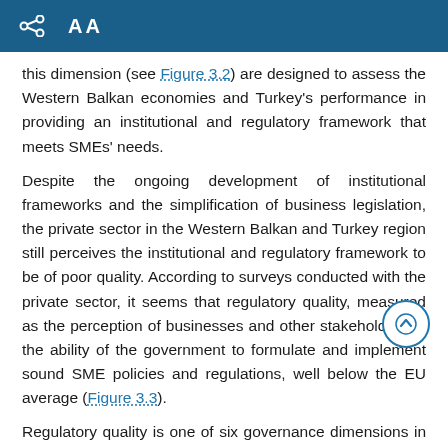AA
this dimension (see Figure 3.2) are designed to assess the Western Balkan economies and Turkey's performance in providing an institutional and regulatory framework that meets SMEs' needs.
Despite the ongoing development of institutional frameworks and the simplification of business legislation, the private sector in the Western Balkan and Turkey region still perceives the institutional and regulatory framework to be of poor quality. According to surveys conducted with the private sector, it seems that regulatory quality, measured as the perception of businesses and other stakeholders of the ability of the government to formulate and implement sound SME policies and regulations, well below the EU average (Figure 3.3).
Regulatory quality is one of six governance dimensions in the Worldwide Governance Indicators (WGI) project. The WGI compile and summarise information from over